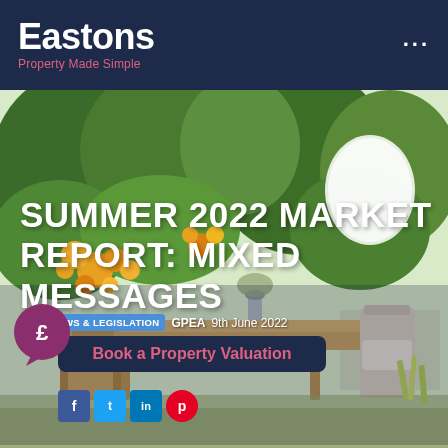Eastons — Property Made Simple
[Figure (photo): Outdoor garden dining area with wooden table and chairs, surrounded by yellow flowers, greenery and trees, with white hanging lantern decoration. Overlay text reads SUMMER 2022 MARKET REPORT: MIXED MESSAGES.]
SUMMER 2022 MARKET REPORT: MIXED MESSAGES
WS & LEGISLATION   GPEA   9th June 2022
Book a Property Valuation